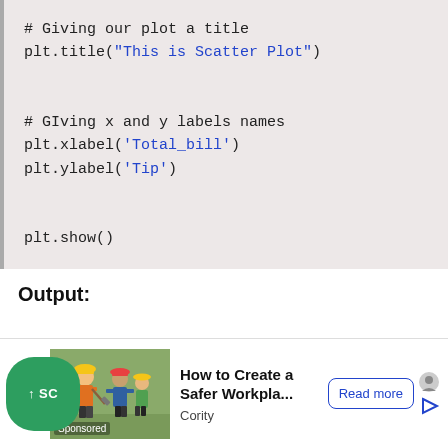# Giving our plot a title
plt.title("This is Scatter Plot")

# GIving x and y labels names
plt.xlabel('Total_bill')
plt.ylabel('Tip')

plt.show()
Output:
[Figure (infographic): Advertisement banner at the bottom: green scroll-up button on left, image of construction workers, text 'How to Create a Safer Workpla...' with 'Cority' source, 'Read more' button, and close X button.]